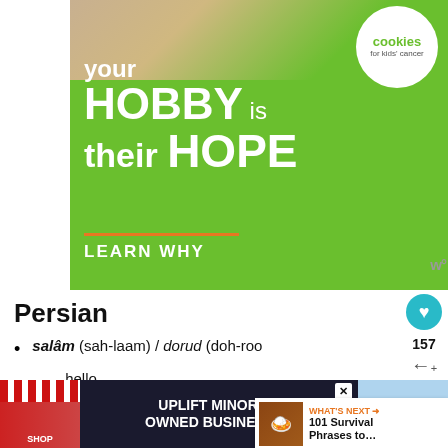[Figure (photo): Advertisement banner for 'Cookies for Kids' Cancer' showing green background with text 'your HOBBY is their HOPE — LEARN WHY' and a person holding cookies. Cookies for Kids' Cancer logo in white circle.]
Persian
salâm (sah-laam) / dorud (doh-roo…
— hello
Turkish
[Figure (photo): Bottom advertisement bar: 'UPLIFT MINORITY OWNED BUSINESSES' with shop imagery on dark blue background. Close button visible.]